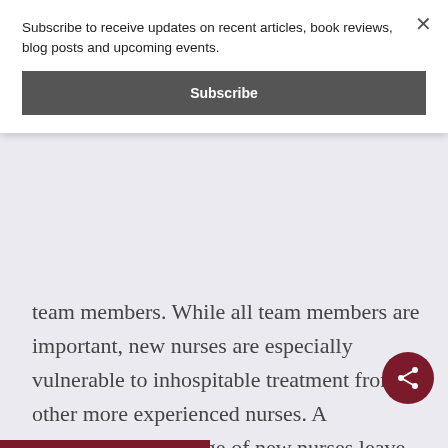Subscribe to receive updates on recent articles, book reviews, blog posts and upcoming events.
Subscribe
team members. While all team members are important, new nurses are especially vulnerable to inhospitable treatment from other more experienced nurses. A significant percentage of new nurses leave their first job due to bullying.⁹ To push back against this toxic, yet pervasive problem, faculty must